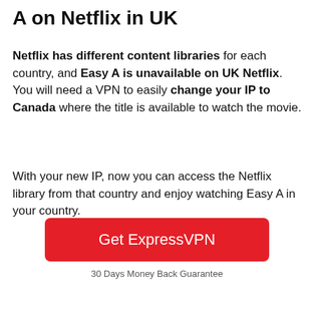A on Netflix in UK
Netflix has different content libraries for each country, and Easy A is unavailable on UK Netflix. You will need a VPN to easily change your IP to Canada where the title is available to watch the movie.
With your new IP, now you can access the Netflix library from that country and enjoy watching Easy A in your country.
[Figure (other): Red button labeled 'Get ExpressVPN']
30 Days Money Back Guarantee